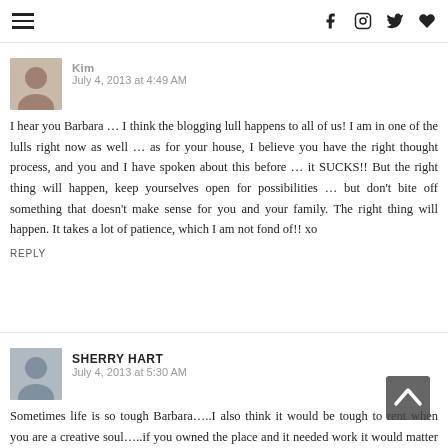≡  f  ☖  𝕏  ♥
Kim  July 4, 2013 at 4:49 AM
I hear you Barbara … I think the blogging lull happens to all of us! I am in one of the lulls right now as well … as for your house, I believe you have the right thought process, and you and I have spoken about this before … it SUCKS!! But the right thing will happen, keep yourselves open for possibilities … but don't bite off something that doesn't make sense for you and your family. The right thing will happen. It takes a lot of patience, which I am not fond of!! xo
REPLY
SHERRY HART  July 4, 2013 at 5:30 AM
Sometimes life is so tough Barbara…..I also think it would be tough to rent when you are a creative soul…..if you owned the place and it needed work it would matter less what